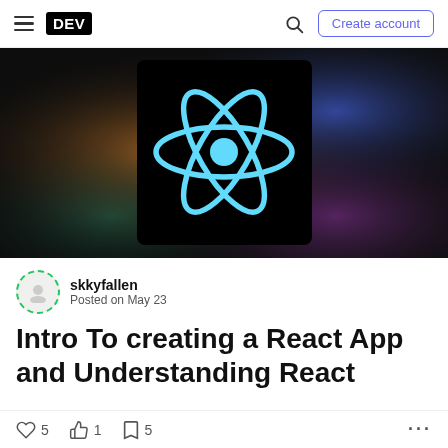DEV | Create account
[Figure (illustration): React logo (cyan atom icon) on a black background with colorful gradient glow border]
skkyfallen
Posted on May 23
Intro To creating a React App and Understanding React
5 likes  1 reactions  5 bookmarks